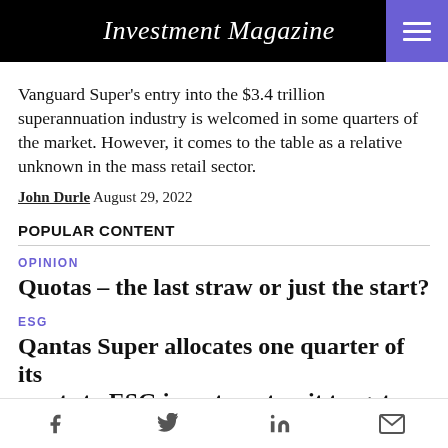Investment Magazine
Vanguard Super's entry into the $3.4 trillion superannuation industry is welcomed in some quarters of the market. However, it comes to the table as a relative unknown in the mass retail sector.
John Durle  August 29, 2022
POPULAR CONTENT
OPINION
Quotas – the last straw or just the start?
ESG
Qantas Super allocates one quarter of its assets to ESG investment as it targets net
Social share icons: Facebook, Twitter, LinkedIn, Email